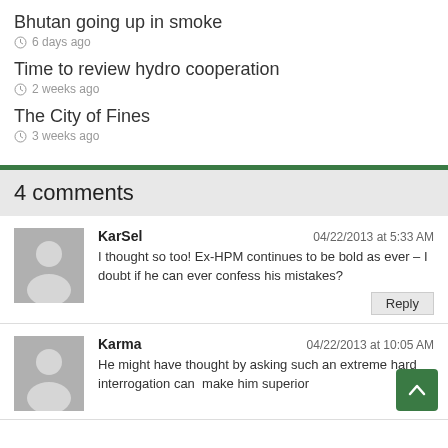Bhutan going up in smoke
6 days ago
Time to review hydro cooperation
2 weeks ago
The City of Fines
3 weeks ago
4 comments
KarSel  04/22/2013 at 5:33 AM
I thought so too! Ex-HPM continues to be bold as ever – I doubt if he can ever confess his mistakes?
Karma  04/22/2013 at 10:05 AM
He might have thought by asking such an extreme hard interrogation can  make him superior